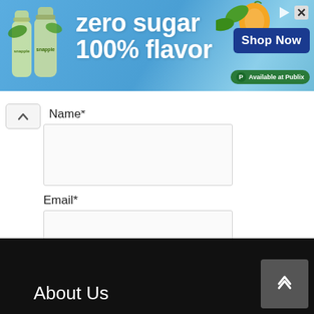[Figure (infographic): Snapple advertisement banner: 'zero sugar 100% flavor' with Snapple bottles on the left, a 'Shop Now' button in blue on the right, and 'Available at Publix' badge. Icons for play and close in top right corner.]
Name*
Email*
SUBSCRIBE
About Us